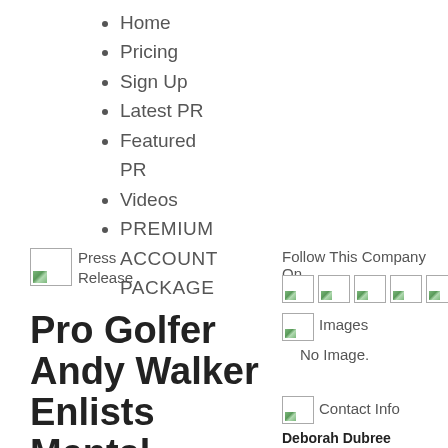Home
Pricing
Sign Up
Latest PR
Featured PR
Videos
PREMIUM ACCOUNT PACKAGE
[Figure (illustration): Broken image placeholder icon for Press Release]
Press Release
Follow This Company On
[Figure (illustration): Six broken image placeholder icons for social media links]
[Figure (illustration): Broken image placeholder icon for Images section]
Images
No Image.
Pro Golfer Andy Walker Enlists Mental Conditioning With Deborah
[Figure (illustration): Broken image placeholder icon for Contact Info]
Contact Info
Deborah Dubree